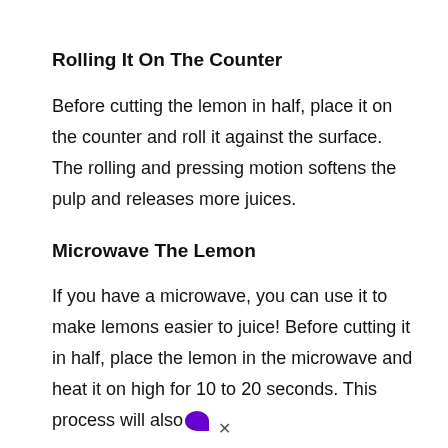Rolling It On The Counter
Before cutting the lemon in half, place it on the counter and roll it against the surface. The rolling and pressing motion softens the pulp and releases more juices.
Microwave The Lemon
If you have a microwave, you can use it to make lemons easier to juice! Before cutting it in half, place the lemon in the microwave and heat it on high for 10 to 20 seconds. This process will also